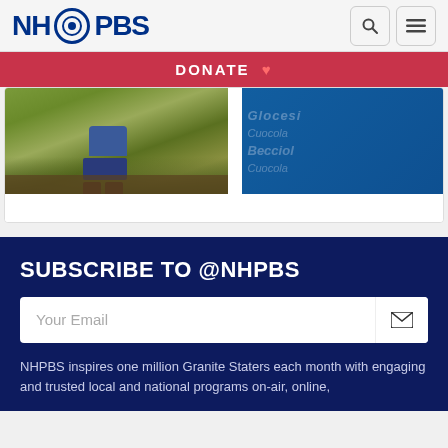NH PBS
DONATE ♥
[Figure (photo): Person sitting on a log outdoors in nature, wearing jeans and boots]
[Figure (screenshot): Blue background with overlapping cursive text/logos]
SUBSCRIBE TO @NHPBS
Your Email
NHPBS inspires one million Granite Staters each month with engaging and trusted local and national programs on-air, online,